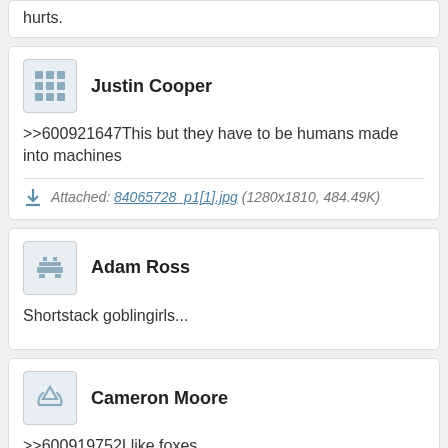hurts.
Justin Cooper
>>600921647This but they have to be humans made into machines
Attached: 84065728_p1[1].jpg (1280x1810, 484.49K)
Adam Ross
Shortstack goblingirls...
Cameron Moore
>>600919752I like foxes.
Attached: 1589062658323.png (2000x1414, 2.77M)